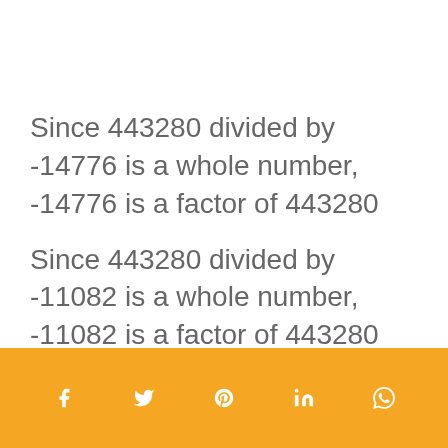Since 443280 divided by -14776 is a whole number, -14776 is a factor of 443280
Since 443280 divided by -11082 is a whole number, -11082 is a factor of 443280
Social share icons: Facebook, Twitter, Pinterest, LinkedIn, WhatsApp